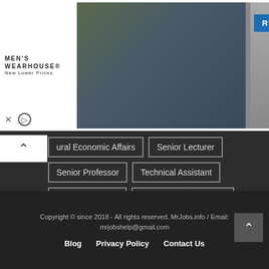[Figure (screenshot): Men's Wearhouse advertisement banner with couple in formalwear and a man in suit, RENT button visible]
ural Economic Affairs
Senior Lecturer
Senior Professor
Technical Assistant
Technical Officer
Technical Officer (Civil)
Technical Officer (ICT)
Temporary Assistant Lecturer
Temporary Demonstrator
Temporary Lecturer
Translator
Copyright © since 2018 - All rights reserved. MrJobs.info / Email: mrjobshelp@gmail.com
Blog   Privacy Policy   Contact Us